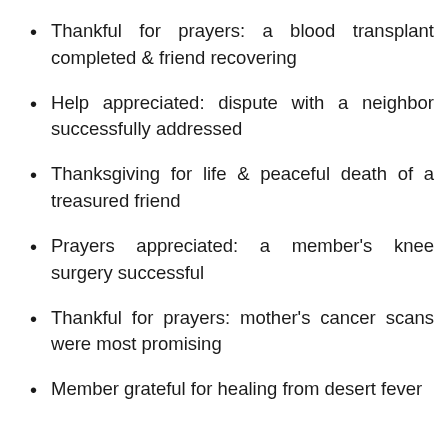Thankful for prayers: a blood transplant completed & friend recovering
Help appreciated: dispute with a neighbor successfully addressed
Thanksgiving for life & peaceful death of a treasured friend
Prayers appreciated: a member's knee surgery successful
Thankful for prayers: mother's cancer scans were most promising
Member grateful for healing from desert fever